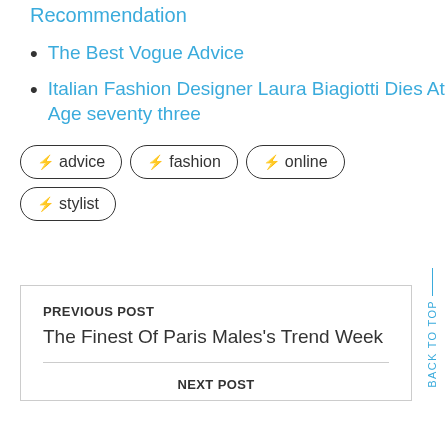Recommendation
The Best Vogue Advice
Italian Fashion Designer Laura Biagiotti Dies At Age seventy three
⚡ advice
⚡ fashion
⚡ online
⚡ stylist
PREVIOUS POST
The Finest Of Paris Males's Trend Week
NEXT POST